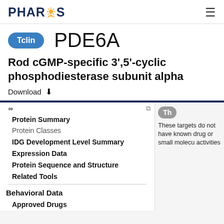PHAROS
PDE6A
Rod cGMP-specific 3',5'-cyclic phosphodiesterase subunit alpha
Download
Protein Summary
Protein Classes
IDG Development Level Summary
Expression Data
Protein Sequence and Structure
Related Tools
Behavioral Data
Approved Drugs
These targets do not have known drug or small molecule activities